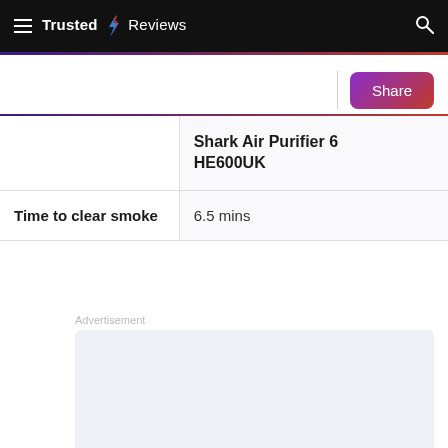Trusted Reviews
|  | Shark Air Purifier 6 HE600UK |
| --- | --- |
| Time to clear smoke | 6.5 mins |
Advertisement